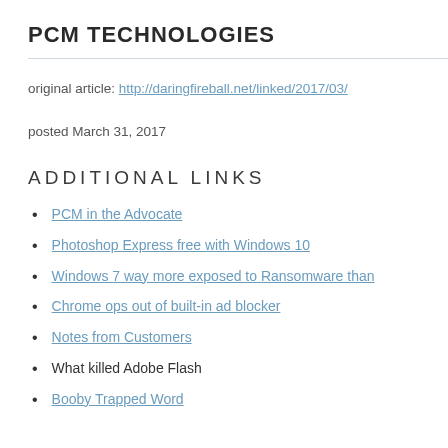PCM TECHNOLOGIES
original article: http://daringfireball.net/linked/2017/03/
posted March 31, 2017
ADDITIONAL LINKS
PCM in the Advocate
Photoshop Express free with Windows 10
Windows 7 way more exposed to Ransomware than
Chrome ops out of built-in ad blocker
Notes from Customers
What killed Adobe Flash
Booby Trapped Word